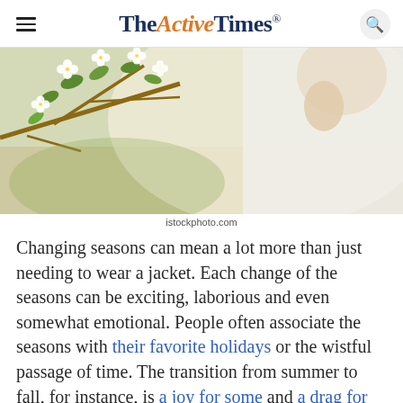The Active Times
[Figure (photo): Person in white shirt outdoors near flowering white blossoms on tree branches, spring/allergy season theme]
istockphoto.com
Changing seasons can mean a lot more than just needing to wear a jacket. Each change of the seasons can be exciting, laborious and even somewhat emotional. People often associate the seasons with their favorite holidays or the wistful passage of time. The transition from summer to fall, for instance, is a joy for some and a drag for others. It can mean